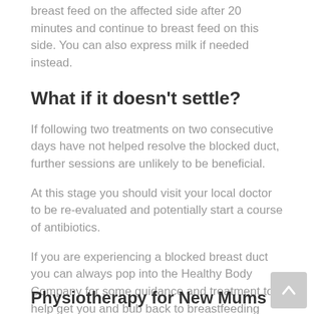breast feed on the affected side after 20 minutes and continue to breast feed on this side. You can also express milk if needed instead.
What if it doesn't settle?
If following two treatments on two consecutive days have not helped resolve the blocked duct, further sessions are unlikely to be beneficial.
At this stage you should visit your local doctor to be re-evaluated and potentially start a course of antibiotics.
If you are experiencing a blocked breast duct you can always pop into the Healthy Body Company for some guidance and treatment to help get you and bub back to breastfeeding worry free!
Physiotherapy for New Mums